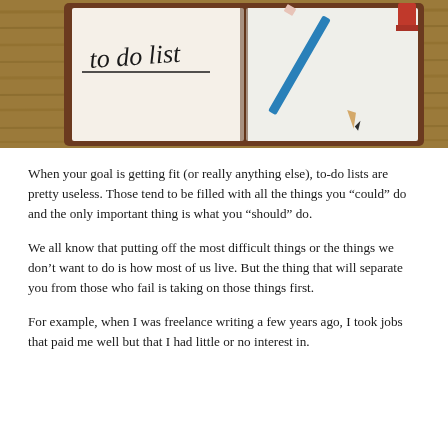[Figure (photo): Photo of an open notebook/planner on a wooden surface with 'to do list' written in handwriting on a white page, with a blue pencil resting on the right side. The notebook has a brown leather cover.]
When your goal is getting fit (or really anything else), to-do lists are pretty useless. Those tend to be filled with all the things you “could” do and the only important thing is what you “should” do.
We all know that putting off the most difficult things or the things we don’t want to do is how most of us live. But the thing that will separate you from those who fail is taking on those things first.
For example, when I was freelance writing a few years ago, I took jobs that paid me well but that I had little or no interest in.